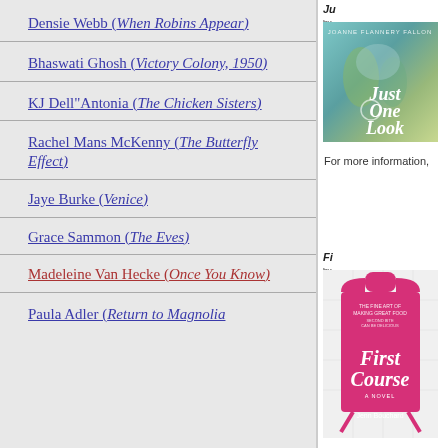Densie Webb (When Robins Appear)
Bhaswati Ghosh (Victory Colony, 1950)
KJ Dell"Antonia (The Chicken Sisters)
Rachel Mans McKenny (The Butterfly Effect)
Jaye Burke (Venice)
Grace Sammon (The Eves)
Madeleine Van Hecke (Once You Know)
Paula Adler (Return to Magnolia
[Figure (photo): Book cover of 'Just One Look' — teal/green impressionistic painting with white cursive title text]
Ju by Fo ha Co sh Ch Se on gri
For more information,
[Figure (photo): Book cover of 'First Course' by Jenn Bouchard — pink apron-shaped design with white cursive title text]
Fi by Ja ha co ho ta an un it h